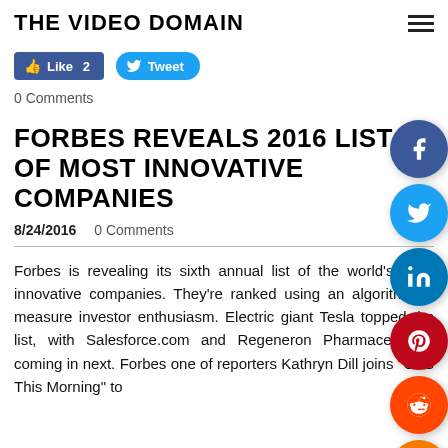THE VIDEO DOMAIN
Like 2   Tweet
0 Comments
FORBES REVEALS 2016 LIST OF MOST INNOVATIVE COMPANIES
8/24/2016   0 Comments
Forbes is revealing its sixth annual list of the world's most innovative companies. They're ranked using an algorithm to measure investor enthusiasm. Electric giant Tesla topped the list, with Salesforce.com and Regeneron Pharmaceuticals coming in next. Forbes one of reporters Kathryn Dill joins "CBS This Morning" to